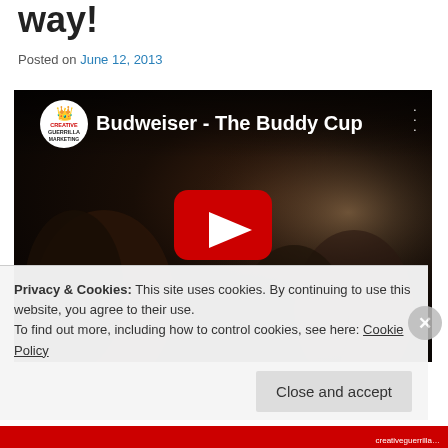way!
Posted on June 12, 2013
[Figure (screenshot): YouTube video embed showing 'Budweiser - The Buddy Cup' with Creative Guerrilla Marketing channel logo, dark bar/crowd scene background with a smiling woman, red YouTube play button overlay]
Privacy & Cookies: This site uses cookies. By continuing to use this website, you agree to their use.
To find out more, including how to control cookies, see here: Cookie Policy
Close and accept